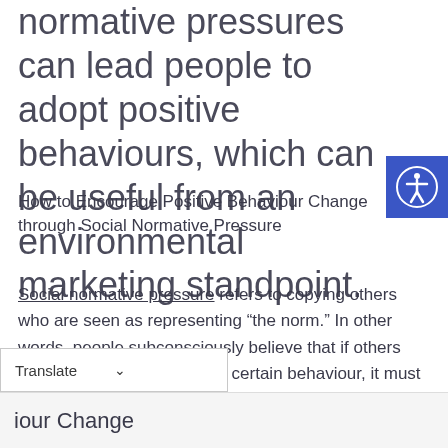normative pressures can lead people to adopt positive behaviours, which can be useful from an environmental marketing standpoint.
How to Encourage Positive Behaviour Change through Social Normative Pressure
Social normative pressure refers to copying others who are seen as representing “the norm.” In other words, people subconsciously believe that if others around them demonstrate a certain behaviour, it must be the right thing to do. This is often referred to as the “wisdom of the crowd.”
iour Change